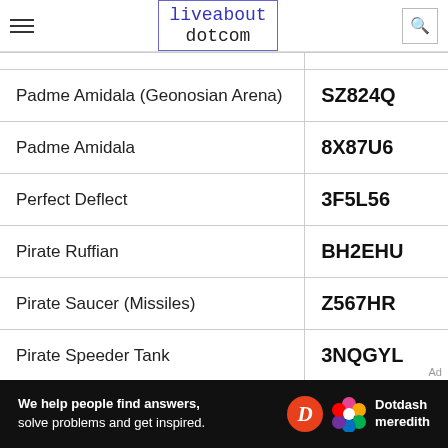liveabout dotcom
| Padme Amidala (Geonosian Arena) | SZ824Q |
| Padme Amidala | 8X87U6 |
| Perfect Deflect | 3F5L56 |
| Pirate Ruffian | BH2EHU |
| Pirate Saucer (Missiles) | Z567HR |
| Pirate Speeder Tank | 3NQGYL |
| Plo Koon | BUD4VU |
[Figure (infographic): Dotdash Meredith ad banner: 'We help people find answers, solve problems and get inspired.']